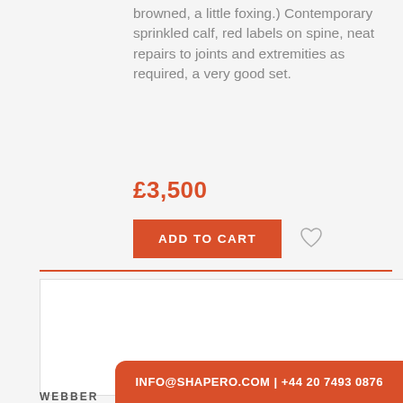browned, a little foxing.) Contemporary sprinkled calf, red labels on spine, neat repairs to joints and extremities as required, a very good set.
£3,500
[Figure (other): ADD TO CART button in orange and a heart/wishlist icon]
[Figure (photo): Photograph of an old book cover: A Short Account of the State of our Woollen Manufactories, from the Peace of Ryswick to This Time. Shewing... An Effectual Scheme to prevent the Exportation of our Wool, by an Universal Registry. London.]
INFO@SHAPERO.COM | +44 20 7493 0876
WEBBER